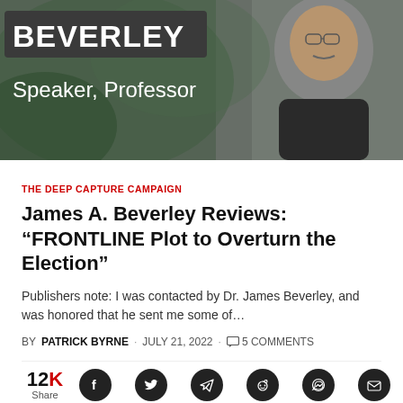[Figure (photo): Header image showing a man with mustache and glasses in dark clothing, with text overlay 'BEVERLEY' in a dark box and 'Speaker, Professor' in white text below, against a blurred green background.]
THE DEEP CAPTURE CAMPAIGN
James A. Beverley Reviews: “FRONTLINE Plot to Overturn the Election”
Publishers note: I was contacted by Dr. James Beverley, and was honored that he sent me some of…
BY PATRICK BYRNE · JULY 21, 2022 · 5 COMMENTS
12K Share